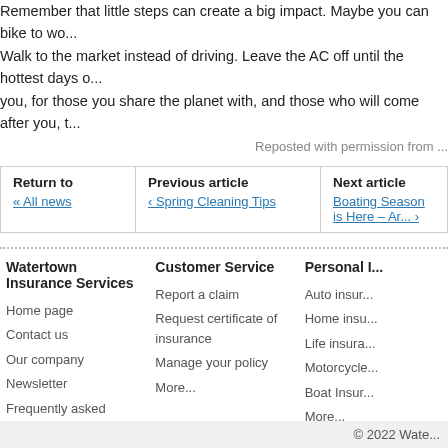Remember that little steps can create a big impact. Maybe you can bike to wo... Walk to the market instead of driving. Leave the AC off until the hottest days o... you, for those you share the planet with, and those who will come after you, t...
Reposted with permission from ...
| Return to | Previous article | Next article |
| --- | --- | --- |
| « All news | ‹ Spring Cleaning Tips | Boating Season is Here – Ar... › |
Watertown Insurance Services
Home page
Contact us
Our company
Newsletter
Frequently asked questions
Customer Service
Report a claim
Request certificate of insurance
Manage your policy
More...
Personal ...
Auto insur...
Home insu...
Life insura...
Motorcycle...
Boat Insur...
More...
© 2022 Wate...